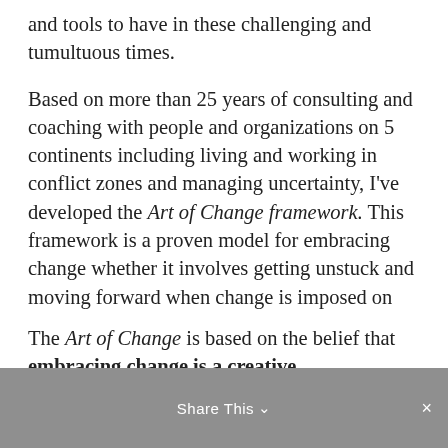and tools to have in these challenging and tumultuous times.
Based on more than 25 years of consulting and coaching with people and organizations on 5 continents including living and working in conflict zones and managing uncertainty, I've developed the Art of Change framework. This framework is a proven model for embracing change whether it involves getting unstuck and moving forward when change is imposed on us, or whether we choose to initiate a change in our beliefs, attitudes and/or behaviors.
The Art of Change is based on the belief that embracing change is a creative